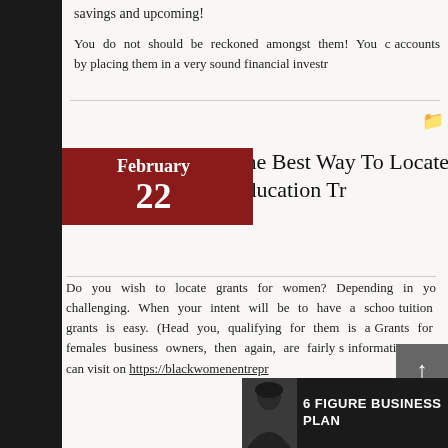savings and upcoming!
You do not should be reckoned amongst them! You c... accounts by placing them in a very sound financial investr...
The Best Way To Locate Gran... Education Tr...
Do you wish to locate grants for women? Depending in yo... challenging. When your intent will be to have a schoo... tuition grants is easy. (Head you, qualifying for them is a... Grants for females business owners, then again, are fairly s... information, you can visit on https://blackwomenentrepr...
[Figure (photo): Banner with woman figure and text: 6 FIGURE BUSINESS PLA...]